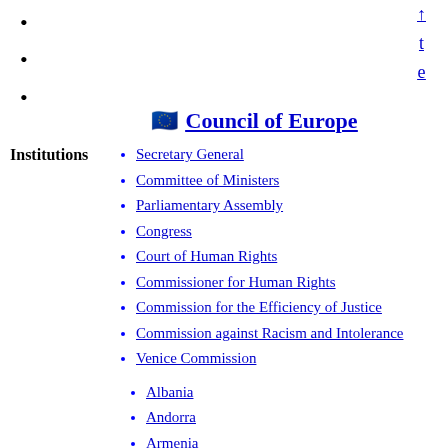•
•
•
Council of Europe
Secretary General
Committee of Ministers
Parliamentary Assembly
Congress
Court of Human Rights
Commissioner for Human Rights
Commission for the Efficiency of Justice
Commission against Racism and Intolerance
Venice Commission
Institutions
Albania
Andorra
Armenia
Austria
Azerbaijan
Belgium
Bosnia and Herzegovina
Bulgaria
Croatia
Cyprus